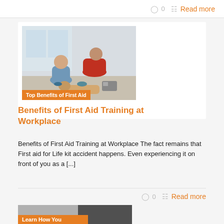0   Read more
[Figure (photo): Two people practicing CPR on a mannequin on the floor. One person in blue scrubs and one in a red shirt. Orange banner at bottom reads: Top Benefits of First Aid]
Benefits of First Aid Training at Workplace
Benefits of First Aid Training at Workplace The fact remains that First aid for Life kit accident happens. Even experiencing it on front of you as a [...]
0   Read more
[Figure (photo): Partial image with orange banner at bottom reading: Learn How You]